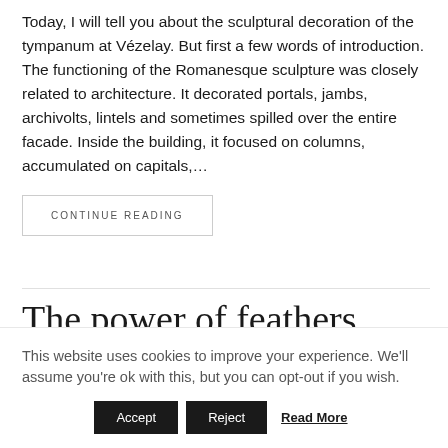Today, I will tell you about the sculptural decoration of the tympanum at Vézelay. But first a few words of introduction. The functioning of the Romanesque sculpture was closely related to architecture. It decorated portals, jambs, archivolts, lintels and sometimes spilled over the entire facade. Inside the building, it focused on columns, accumulated on capitals,…
CONTINUE READING
The power of feathers
This website uses cookies to improve your experience. We'll assume you're ok with this, but you can opt-out if you wish.
Accept  Reject  Read More